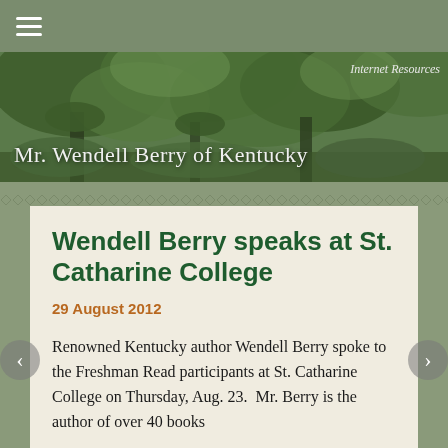≡
[Figure (photo): Forest scene with trees and green foliage forming a banner image. Text 'Internet Resources' in upper right and 'Mr. Wendell Berry of Kentucky' in lower left.]
Wendell Berry speaks at St. Catharine College
29 August 2012
Renowned Kentucky author Wendell Berry spoke to the Freshman Read participants at St. Catharine College on Thursday, Aug. 23. Mr. Berry is the author of over 40 books